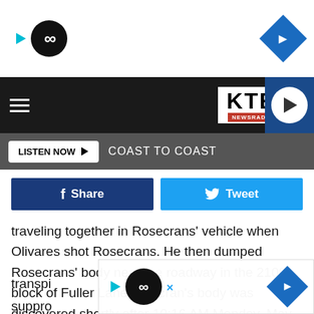[Figure (screenshot): Top advertisement banner with infinity loop logo and blue diamond navigation icon on white background]
[Figure (logo): KTEM NewsRadio header logo on dark background with hamburger menu and play button]
LISTEN NOW ▶   COAST TO COAST
[Figure (screenshot): Social sharing buttons: Facebook Share (dark blue) and Twitter Tweet (cyan blue)]
traveling together in Rosecrans' vehicle when Olivares shot Rosecrans. He then dumped Rosecrans' body near the roadway in the 2100 block of Fuller Lane. Roscran's body was discovered shortly after 10:16 AM Monday, May 18. His vehicle was found aflame around 10:27 AM the same day.
Rosecrans was only 27 at the time of his death. Police have not commented on a possible motive, but whatever transpi... was suppro... he
[Figure (screenshot): Bottom advertisement banner with infinity loop logo and blue diamond navigation icon]